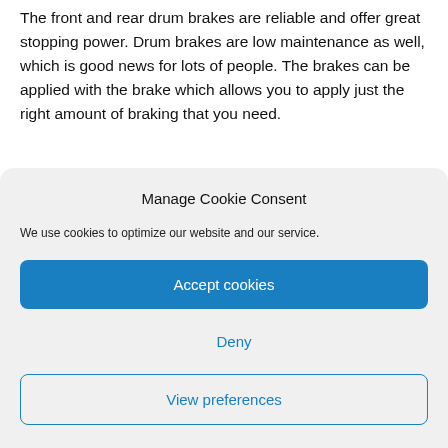The front and rear drum brakes are reliable and offer great stopping power. Drum brakes are low maintenance as well, which is good news for lots of people. The brakes can be applied with the brake which allows you to apply just the right amount of braking that you need.
Manage Cookie Consent
We use cookies to optimize our website and our service.
Accept cookies
Deny
View preferences